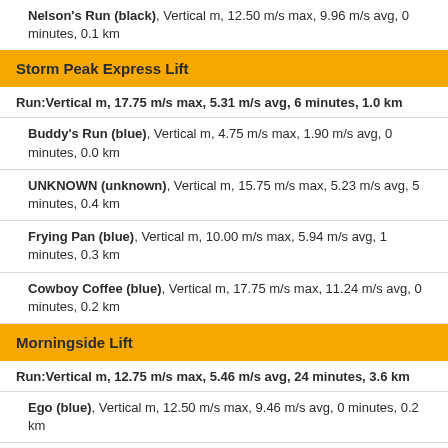Nelson's Run (black), Vertical m, 12.50 m/s max, 9.96 m/s avg, 0 minutes, 0.1 km
Storm Peak Express Lift
Run:Vertical m, 17.75 m/s max, 5.31 m/s avg, 6 minutes, 1.0 km
Buddy's Run (blue), Vertical m, 4.75 m/s max, 1.90 m/s avg, 0 minutes, 0.0 km
UNKNOWN (unknown), Vertical m, 15.75 m/s max, 5.23 m/s avg, 5 minutes, 0.4 km
Frying Pan (blue), Vertical m, 10.00 m/s max, 5.94 m/s avg, 1 minutes, 0.3 km
Cowboy Coffee (blue), Vertical m, 17.75 m/s max, 11.24 m/s avg, 0 minutes, 0.2 km
Morningside Lift
Run:Vertical m, 12.75 m/s max, 5.46 m/s avg, 24 minutes, 3.6 km
Ego (blue), Vertical m, 12.50 m/s max, 9.46 m/s avg, 0 minutes, 0.2 km